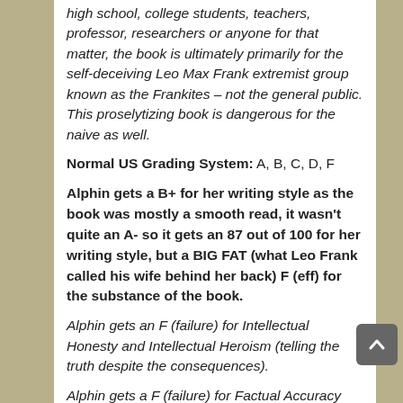high school, college students, teachers, professor, researchers or anyone for that matter, the book is ultimately primarily for the self-deceiving Leo Max Frank extremist group known as the Frankites – not the general public. This proselytizing book is dangerous for the naive as well.
Normal US Grading System: A, B, C, D, F
Alphin gets a B+ for her writing style as the book was mostly a smooth read, it wasn't quite an A- so it gets an 87 out of 100 for her writing style, but a BIG FAT (what Leo Frank called his wife behind her back) F (eff) for the substance of the book.
Alphin gets an F (failure) for Intellectual Honesty and Intellectual Heroism (telling the truth despite the consequences).
Alphin gets a F (failure) for Factual Accuracy and